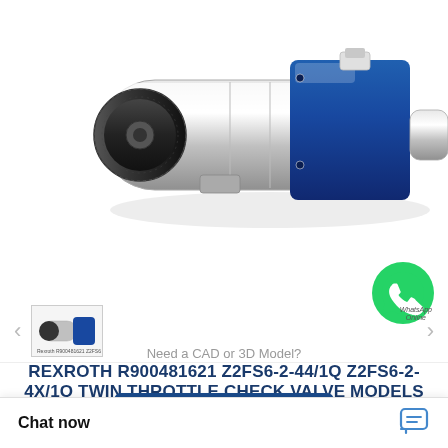[Figure (photo): Rexroth twin throttle check valve product photo on white background, showing blue body with cylindrical actuator and black knob]
[Figure (photo): Small thumbnail image of the same Rexroth valve product]
REXROTH R900481621 Z2FS6-2-44/1Q Z2FS6-2-4X/1Q TWIN THROTTLE CHECK VALVE MODELS
Need a CAD or 3D Model?
Contact Now
Chat now